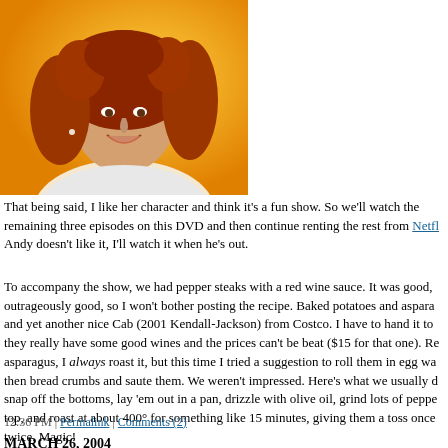[Figure (photo): Portrait photo of a woman with curly red hair smiling, against an orange/yellow background, wearing a white top with small earrings.]
That being said, I like her character and think it's a fun show. So we'll watch the remaining three episodes on this DVD and then continue renting the rest from Netfl... Andy doesn't like it, I'll watch it when he's out.
To accompany the show, we had pepper steaks with a red wine sauce. It was good, outrageously good, so I won't bother posting the recipe. Baked potatoes and aspara... and yet another nice Cab (2001 Kendall-Jackson) from Costco. I have to hand it to they really have some good wines and the prices can't be beat ($15 for that one). Re... asparagus, I always roast it, but this time I tried a suggestion to roll them in egg wa... then bread crumbs and saute them. We weren't impressed. Here's what we usually d... snap off the bottoms, lay 'em out in a pan, drizzle with olive oil, grind lots of peppe... top, and roast at about 400° for something like 15 minutes, giving them a toss once twice. Magic!
12:36 PM | Permalink | Comments (2)
MARCH 26, 2004